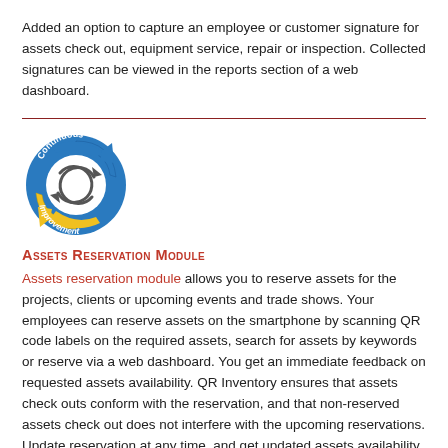Added an option to capture an employee or customer signature for assets check out, equipment service, repair or inspection. Collected signatures can be viewed in the reports section of a web dashboard.
[Figure (logo): Continuous Improvement circular logo with blue and yellow arrow cycle design and text 'Continuous Improvement']
Assets Reservation Module
Assets reservation module allows you to reserve assets for the projects, clients or upcoming events and trade shows. Your employees can reserve assets on the smartphone by scanning QR code labels on the required assets, search for assets by keywords or reserve via a web dashboard. You get an immediate feedback on requested assets availability. QR Inventory ensures that assets check outs conform with the reservation, and that non-reserved assets check out does not interfere with the upcoming reservations. Update reservation at any time, and get updated assets availability. Delete reservation,